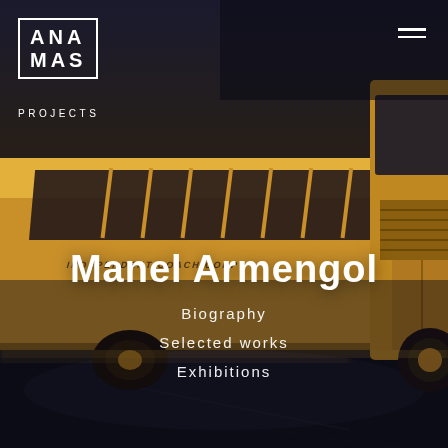[Figure (photo): A yellow school bus labeled 'INDEPENDENT COACH CORP' photographed in motion blur on a dark wet road, from a low angle showing the side and front of the bus against a dark background.]
ANA MAS PROJECTS
Manel Armengol
Biography
Selected works
Exhibitions